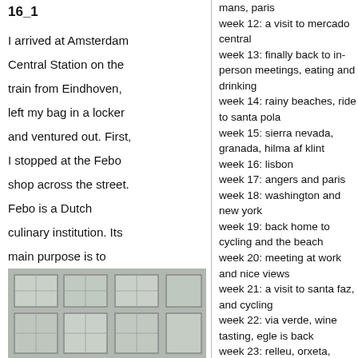16_1
I arrived at Amsterdam Central Station on the train from Eindhoven, left my bag in a locker and ventured out. First, I stopped at the Febo shop across the street. Febo is a Dutch culinary institution. Its main purpose is to provide greasy snacks at all hours, especially useful if someone is drunk and hungry and it is very late:
[Figure (photo): Photo of a building facade with a grid of windows/panels]
mans, paris
week 12: a visit to mercado central
week 13: finally back to in-person meetings, eating and drinking
week 14: rainy beaches, ride to santa pola
week 15: sierra nevada, granada, hilma af klint
week 16: lisbon
week 17: angers and paris
week 18: washington and new york
week 19: back home to cycling and the beach
week 20: meeting at work and nice views
week 21: a visit to santa faz, and cycling
week 22: via verde, wine tasting, egle is back
week 23: relleu, orxeta, meetings at the office
week 24: denmark
week 25: hogueras de san juan
week 26: wine tasting, la manga/cartagena
week 27: party time
week 28: cycling, eri, hostal maruja
week 29: more rides, more